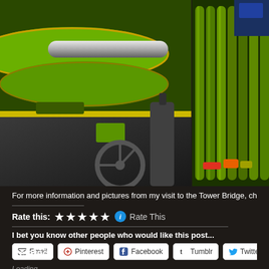[Figure (photo): Close-up photograph of industrial machinery with green-painted roller tubes and chrome/metal components, appears to be printing or manufacturing equipment. Two side-by-side photos showing different angles of the same machinery.]
For more information and pictures from my visit to the Tower Bridge, check out Pa
Rate this: ★★★★★ ℹ Rate This
I bet you know other people who would like this post...
Email | Pinterest | Facebook | Tumblr | Twitter | Reddit
Loading...
Related